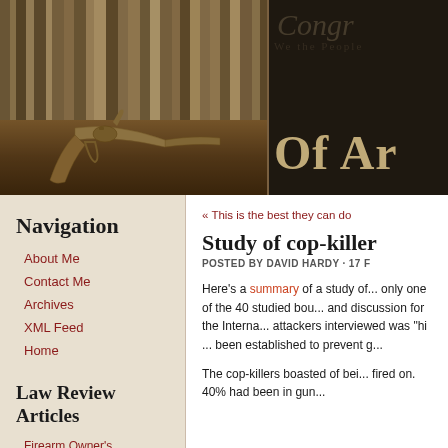[Figure (photo): Header image split in two: left side shows a bookshelf with law books and an antique flintlock pistol in sepia tones; right side shows dark background with cursive 'Congr...' text and large serif 'Of Ar' text]
Navigation
About Me
Contact Me
Archives
XML Feed
Home
Law Review Articles
Firearm Owner's Protection Act
Armed Citizens, Citizen Armies
« This is the best they can do
Study of cop-killer
POSTED BY DAVID HARDY · 17 F
Here's a summary of a study of... only one of the 40 studied bou... and discussion for the Interna... attackers interviewed was "hi... been established to prevent g...
The cop-killers boasted of bei... fired on. 40% had been in gun...